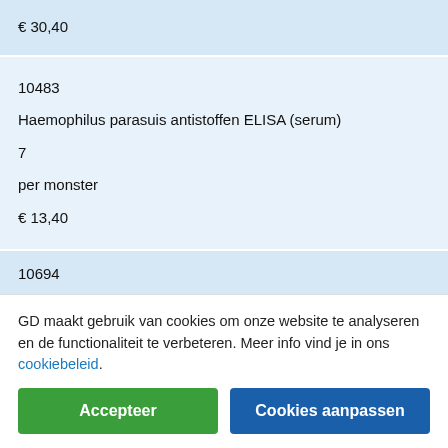€ 30,40
10483
Haemophilus parasuis antistoffen ELISA (serum)
7
per monster
€ 13,40
10694
Identificatio bacteriecultuur Malditof (excl. gevoeligheid)
GD maakt gebruik van cookies om onze website te analyseren en de functionaliteit te verbeteren. Meer info vind je in ons cookiebeleid.
Accepteer
Cookies aanpassen